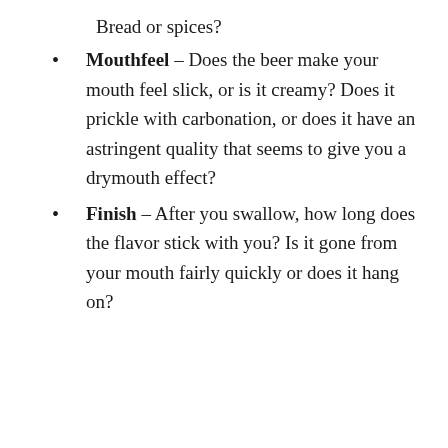Bread or spices?
Mouthfeel – Does the beer make your mouth feel slick, or is it creamy? Does it prickle with carbonation, or does it have an astringent quality that seems to give you a drymouth effect?
Finish – After you swallow, how long does the flavor stick with you? Is it gone from your mouth fairly quickly or does it hang on?